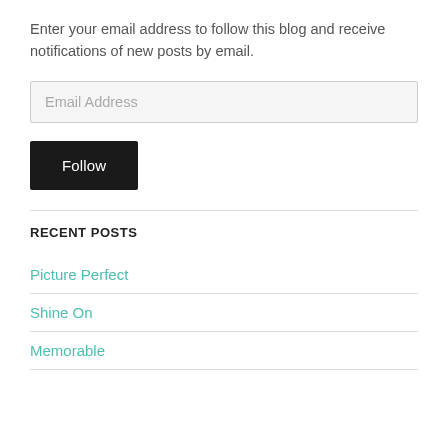Enter your email address to follow this blog and receive notifications of new posts by email.
[Figure (other): Email address input field with placeholder text 'Email Address']
[Figure (other): Follow button — dark background with white text]
RECENT POSTS
Picture Perfect
Shine On
Memorable